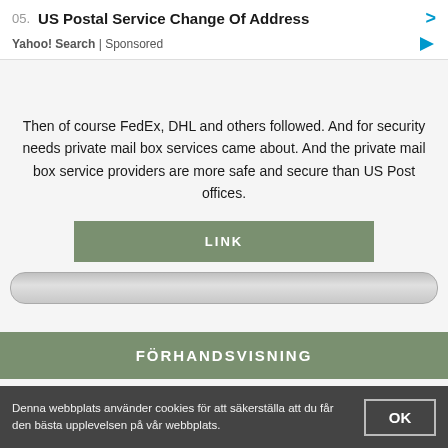05. US Postal Service Change Of Address
Yahoo! Search | Sponsored
Then of course FedEx, DHL and others followed. And for security needs private mail box services came about. And the private mail box service providers are more safe and secure than US Post offices.
LINK
FÖRHANDSVISNING
Denna webbplats använder cookies för att säkerställa att du får den bästa upplevelsen på vår webbplats.
OK